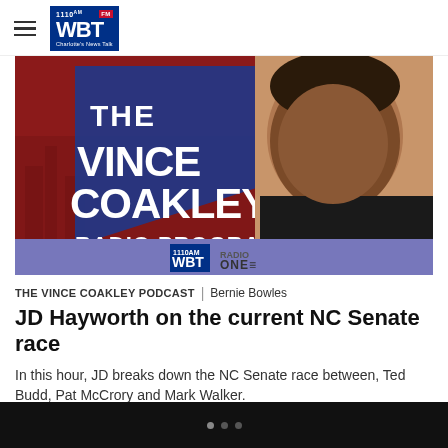1110AM WBT Charlotte's News Talk
[Figure (photo): Promotional banner for The Vince Coakley Radio Program showing the show title text on a red and blue background with host's headshot on the right, and WBT/Radio One logos at bottom]
THE VINCE COAKLEY PODCAST | Bernie Bowles
JD Hayworth on the current NC Senate race
In this hour, JD breaks down the NC Senate race between, Ted Budd, Pat McCrory and Mark Walker.
• • •